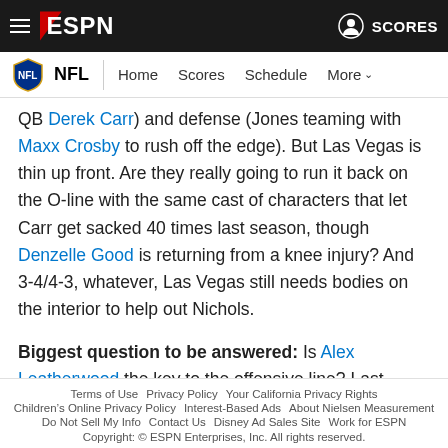ESPN navigation bar with hamburger menu, ESPN logo, and SCORES link
NFL | Home  Scores  Schedule  More
QB Derek Carr) and defense (Jones teaming with Maxx Crosby to rush off the edge). But Las Vegas is thin up front. Are they really going to run it back on the O-line with the same cast of characters that let Carr get sacked 40 times last season, though Denzelle Good is returning from a knee injury? And 3-4/4-3, whatever, Las Vegas still needs bodies on the interior to help out Nichols.
Biggest question to be answered: Is Alex Leatherwood the key to the offensive line? Last year’s head-scratching first draft
Terms of Use  Privacy Policy  Your California Privacy Rights  Children’s Online Privacy Policy  Interest-Based Ads  About Nielsen Measurement  Do Not Sell My Info  Contact Us  Disney Ad Sales Site  Work for ESPN  Copyright: © ESPN Enterprises, Inc. All rights reserved.